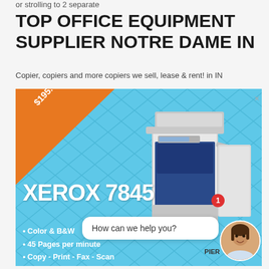or strolling to 2 separate
TOP OFFICE EQUIPMENT SUPPLIER NOTRE DAME IN
Copier, copiers and more copiers we sell, lease & rent! in IN
[Figure (photo): Advertisement image for Xerox 7845 office copier/printer. Blue diamond-pattern background with orange triangle banner reading 'ONLY $195.00/month'. Shows a large Xerox 7845 multifunction printer in blue and grey. Text includes 'XEROX 7845' in large white letters, bullet points: Color & B&W, 45 Pages per minute, Copy - Print - Fax - Scan. Chat bubble overlay saying 'How can we help you?' with avatar and 'PIER' label and notification badge.]